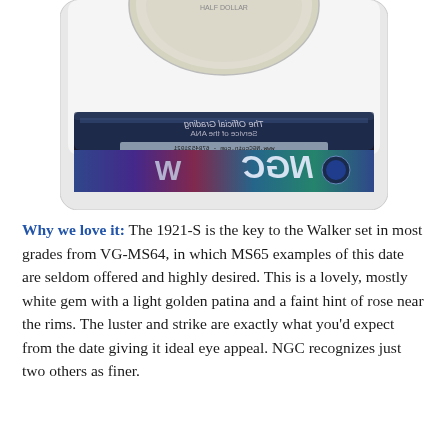[Figure (photo): Bottom portion of an NGC coin grading slab showing a silver coin in a clear plastic holder with an NGC holographic authentication label visible on the front.]
Why we love it: The 1921-S is the key to the Walker set in most grades from VG-MS64, in which MS65 examples of this date are seldom offered and highly desired. This is a lovely, mostly white gem with a light golden patina and a faint hint of rose near the rims. The luster and strike are exactly what you'd expect from the date giving it ideal eye appeal. NGC recognizes just two others as finer.